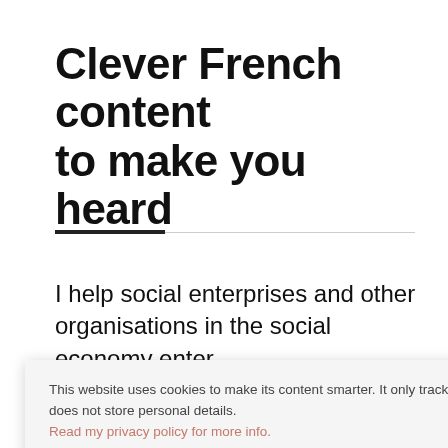Clever French content to make you heard
I help social enterprises and other organisations in the social economy enter, [grow the French] market.
This website uses cookies to make its content smarter. It only tracks visits and does not store personal details. Read my privacy policy for more info.
Cookie settings   ACCEPT
business meet its goals.